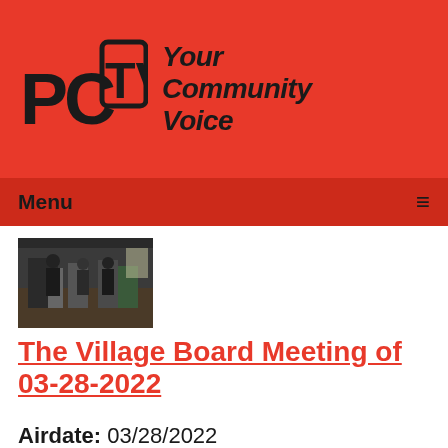[Figure (logo): PCTV Your Community Voice logo on red background with stylized PCTV letters and italic tagline]
Menu ☰
[Figure (photo): Thumbnail image of people at a village board meeting, dark/low-light setting]
The Village Board Meeting of 03-28-2022
Airdate: 03/28/2022
Guests: Joseph Zane